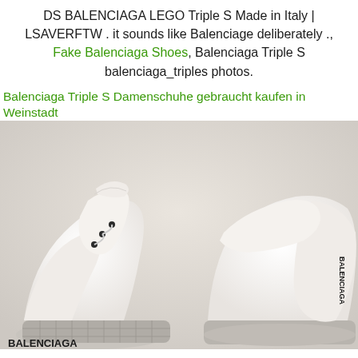DS BALENCIAGA LEGO Triple S Made in Italy | LSAVERFTW . it sounds like Balenciage deliberately ., Fake Balenciaga Shoes, Balenciaga Triple S balenciaga_triples photos.
Balenciaga Triple S Damenschuhe gebraucht kaufen in Weinstadt
[Figure (photo): Close-up photo of two white Balenciaga Triple S sneakers against a light beige/cream background. The left shoe shows the front/toe area with black dot eyelets and waffle-textured sole. The right shoe shows the heel area with BALENCIAGA text printed on it. Both shoes are predominantly white. BALENCIAGA text also appears in black on the lower left of the image.]